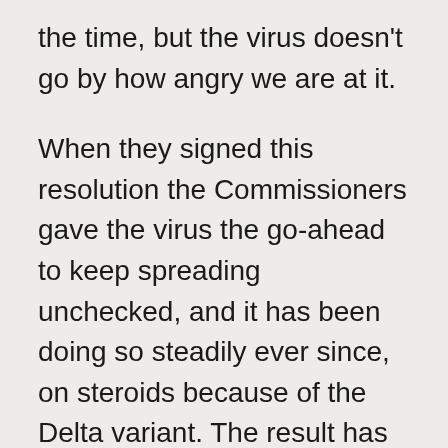the time, but the virus doesn't go by how angry we are at it.
When they signed this resolution the Commissioners gave the virus the go-ahead to keep spreading unchecked, and it has been doing so steadily ever since, on steroids because of the Delta variant. The result has been a steady upswing in Covid cases that spiked recently, high enough to catapult the county back in severity to